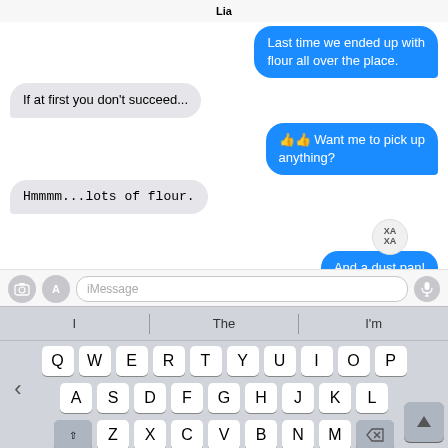Lia
Last time we ended up with flour all over the place.
If at first you don't succeed...
👍👍 Want me to pick up anything?
Hmmmm...lots of flour.
XA XA
And a dust pan!
Доставлено
iMessage
I   The   I'm
Q W E R T Y U I O P
A S D F G H J K L
Z X C V B N M